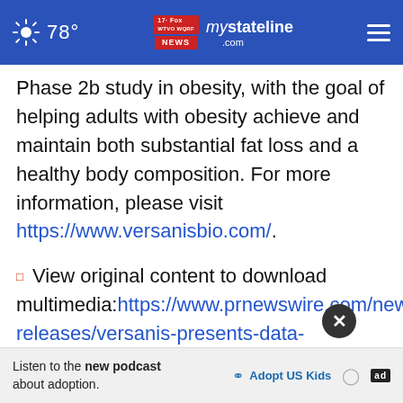78° mystateline.com
Phase 2b study in obesity, with the goal of helping adults with obesity achieve and maintain both substantial fat loss and a healthy body composition. For more information, please visit https://www.versanisbio.com/.
View original content to download multimedia: https://www.prnewswire.com/news-releases/versanis-presents-data-demonstrating-bimagrumab-treatment-leads-to-su
Listen to the new podcast about adoption.